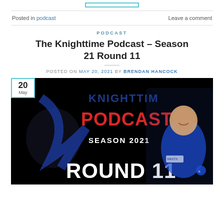[Figure (other): Top button/banner element with teal border]
Posted in podcast    Leave a comment
PODCAST
The Knighttime Podcast – Season 21 Round 11
POSTED ON MAY 20, 2021 BY BRENDAN HANCOCK
[Figure (photo): Knighttime Podcast Season 2021 Round 11 promotional image featuring a rugby league player in Newcastle Knights jersey on a dark background with podcast logo and date badge showing 20 May]